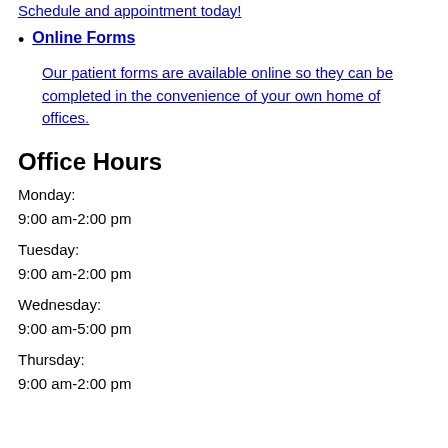Schedule and appointment today!
Online Forms
Our patient forms are available online so they can be completed in the convenience of your own home of offices.
Office Hours
Monday:
9:00 am-2:00 pm
Tuesday:
9:00 am-2:00 pm
Wednesday:
9:00 am-5:00 pm
Thursday:
9:00 am-2:00 pm